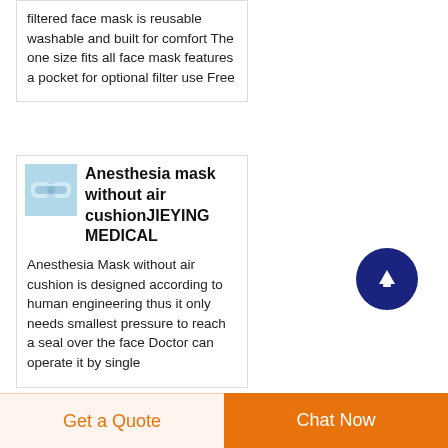filtered face mask is reusable washable and built for comfort The one size fits all face mask features a pocket for optional filter use Free
Anesthesia mask without air cushionJIEYING MEDICAL
Anesthesia Mask without air cushion is designed according to human engineering thus it only needs smallest pressure to reach a seal over the face Doctor can operate it by single
Get a Quote
Chat Now